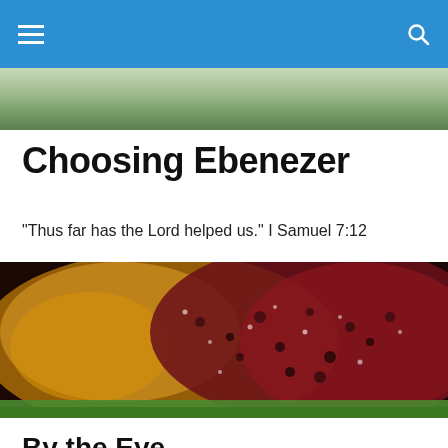Navigation bar with menu icon and search icon
[Figure (photo): Header photo strip showing green foliage/rosemary plant background]
Choosing Ebenezer
"Thus far has the Lord helped us." I Samuel 7:12
[Figure (photo): Food photo showing a baked dish with dark berry/fruit filling in a cast iron skillet on green grass]
By the Eye
In anticipation of A Bookish Affair, I’ve been planning a photographic essay about good old Roswell, America.  By photographic essay, I mean I have set of images that I’m going to try and get of this town that show it off and ask